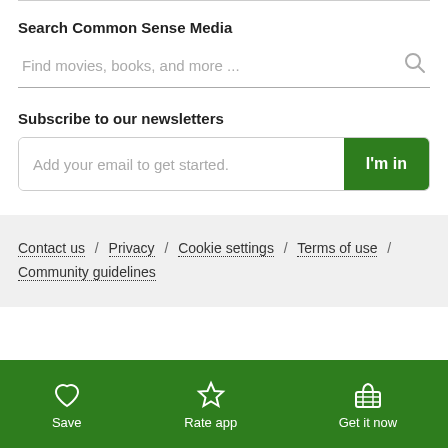Search Common Sense Media
Find movies, books, and more ...
Subscribe to our newsletters
Add your email to get started.
I'm in
Contact us / Privacy / Cookie settings / Terms of use / Community guidelines
Save | Rate app | Get it now